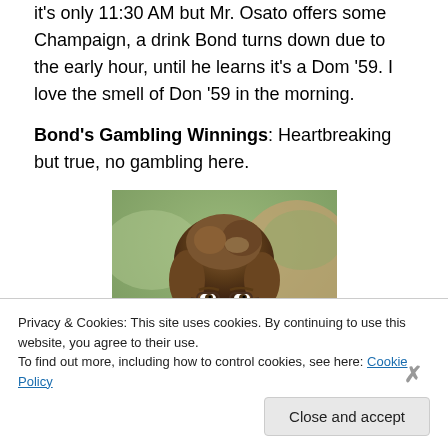it's only 11:30 AM but Mr. Osato offers some Champaign, a drink Bond turns down due to the early hour, until he learns it's a Dom '59. I love the smell of Don '59 in the morning.
Bond's Gambling Winnings: Heartbreaking but true, no gambling here.
[Figure (photo): Portrait photo of a woman with brown hair, glasses, looking at camera, outdoors background]
Privacy & Cookies: This site uses cookies. By continuing to use this website, you agree to their use.
To find out more, including how to control cookies, see here: Cookie Policy